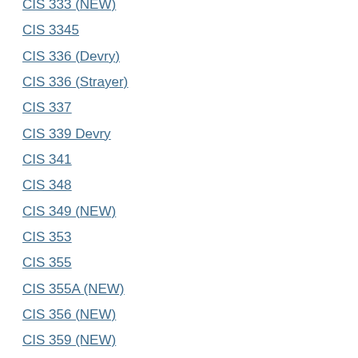CIS 333 (NEW)
CIS 3345
CIS 336 (Devry)
CIS 336 (Strayer)
CIS 337
CIS 339 Devry
CIS 341
CIS 348
CIS 349 (NEW)
CIS 353
CIS 355
CIS 355A (NEW)
CIS 356 (NEW)
CIS 359 (NEW)
CIS 3615
CIS 375
CIS 401 (NEW)
CIS 406
CIS 407 A (Devry)